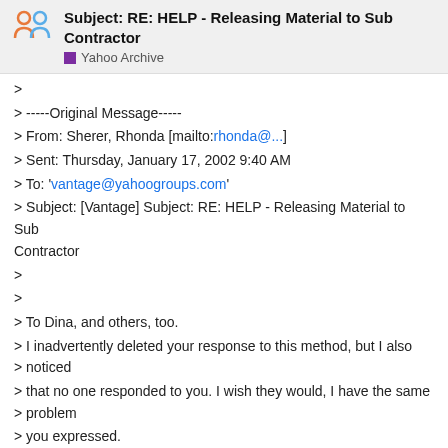Subject: RE: HELP - Releasing Material to Sub Contractor
Yahoo Archive
>
> -----Original Message-----
> From: Sherer, Rhonda [mailto:rhonda@...]
> Sent: Thursday, January 17, 2002 9:40 AM
> To: 'vantage@yahoogroups.com'
> Subject: [Vantage] Subject: RE: HELP - Releasing Material to Sub
Contractor
>
>
> To Dina, and others, too.
> I inadvertently deleted your response to this method, but I also
> noticed
> that no one responded to you. I wish they would, I have the same
> problem
> you expressed.
>